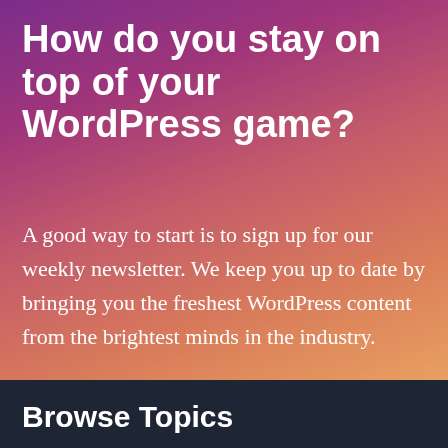How do you stay on top of your WordPress game?
A good way to start is to sign up for our weekly newsletter. We keep you up to date by bringing you the freshest WordPress content from the brightest minds in the industry.
Browse Topics